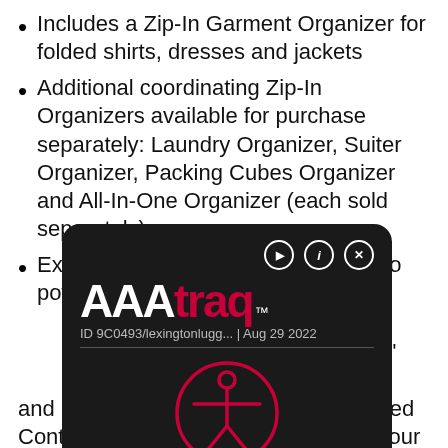Includes a Zip-In Garment Organizer for folded shirts, dresses and jackets
Additional coordinating Zip-In Organizers available for purchase separately: Laundry Organizer, Suiter Organizer, Packing Cubes Organizer and All-In-One Organizer (each sold separately)
External USB port provides access to power
[Figure (other): AAAtraq popup overlay with logo, ID 9C0493/lexingtonlugg... | Aug 29 2022, and accessibility figure icon]
...provides FAA- ...to an external ...ed)
...laptops up to 17" ...precise control and ...cludes a Patented Contour Grip to relieve the stress on your hand for more comfort and greater control of your spinner luggage, an airline grade...